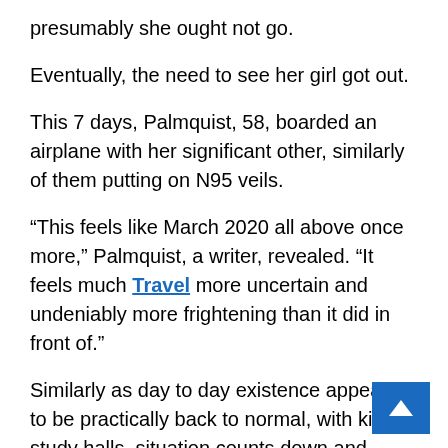presumably she ought not go.
Eventually, the need to see her girl got out.
This 7 days, Palmquist, 58, boarded an airplane with her significant other, similarly of them putting on N95 veils.
“This feels like March 2020 all above once more,” Palmquist, a writer, revealed. “It feels much Travel more uncertain and undeniably more frightening than it did in front of.”
Similarly as day to day existence appeared to be practically back to normal, with kids in study halls, situation counts down and suppers with dear companions continuing, along came Omicron, its insidious combination of over the top